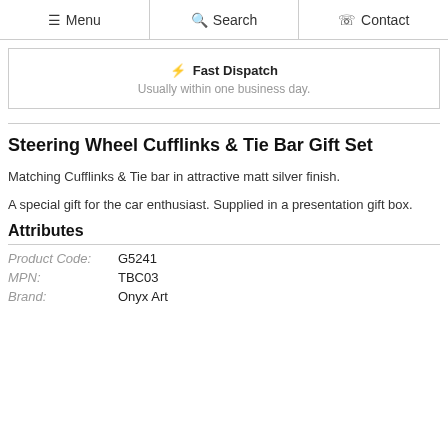Menu  Search  Contact
⚡ Fast Dispatch
Usually within one business day.
Steering Wheel Cufflinks & Tie Bar Gift Set
Matching Cufflinks & Tie bar in attractive matt silver finish.
A special gift for the car enthusiast. Supplied in a presentation gift box.
Attributes
| Label | Value |
| --- | --- |
| Product Code: | G5241 |
| MPN: | TBC03 |
| Brand: | Onyx Art |